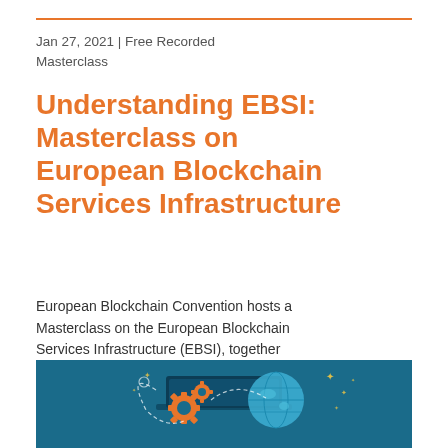Jan 27, 2021 | Free Recorded Masterclass
Understanding EBSI: Masterclass on European Blockchain Services Infrastructure
European Blockchain Convention hosts a Masterclass on the European Blockchain Services Infrastructure (EBSI), together with the European Commission. Th...
[Figure (illustration): Illustration on a teal/dark blue background showing a laptop with a globe, orange gear icons, dashed connecting lines, and decorative stars, representing blockchain technology and European infrastructure.]